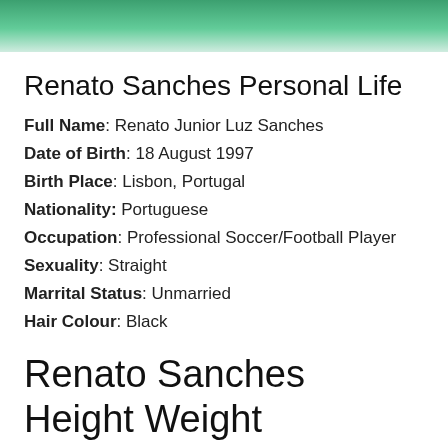[Figure (photo): Photo of Renato Sanches wearing a green Portugal national team jersey with a red emblem on the chest.]
Renato Sanches Personal Life
Full Name: Renato Junior Luz Sanches
Date of Birth: 18 August 1997
Birth Place: Lisbon, Portugal
Nationality: Portuguese
Occupation: Professional Soccer/Football Player
Sexuality: Straight
Marrital Status: Unmarried
Hair Colour: Black
Renato Sanches Height Weight Stats and Salary
Renato Sanches Height Weight